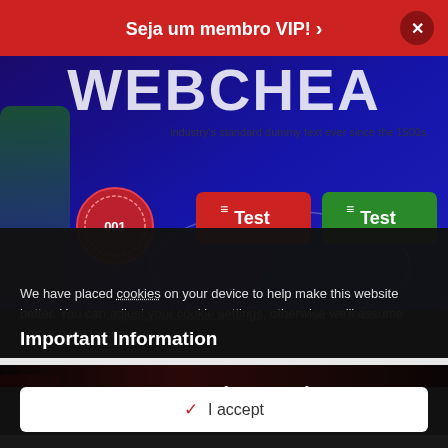Seja um membro VIP! >
[Figure (screenshot): Website hero banner with dark blue/purple background showing 'WEBCHAT' large text, dummy text overlay, a coin icon with '001', and two buttons labeled 'Test' in red and green]
[Figure (screenshot): Dark advertisement banner with italic text 'Anuncie Aqui' and 'WEBCHATS' subtitle in red]
Important Information
We have placed cookies on your device to help make this website better. You can adjust your cookie settings, otherwise we'll assume you're okay to continue.
I accept